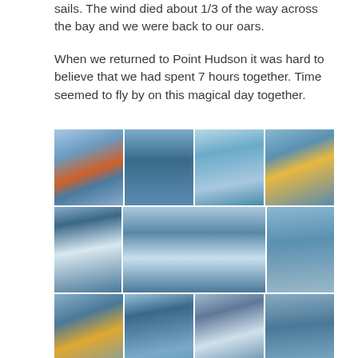sails. The wind died about 1/3 of the way across the bay and we were back to our oars.
When we returned to Point Hudson it was hard to believe that we had spent 7 hours together. Time seemed to fly by on this magical day together.
[Figure (photo): A collage of twelve photographs showing people sailing on a traditional wooden boat on the water. The images show individuals wearing masks, life jackets, and cold-weather gear on the boat, with sails raised, rowing with oars, and views of the calm blue water and cloudy sky. The bottom row is partially cut off.]